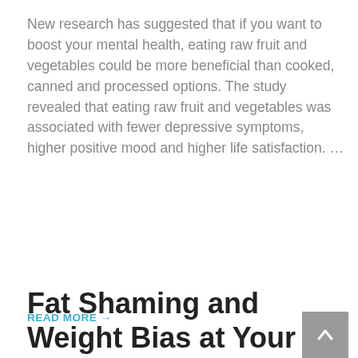New research has suggested that if you want to boost your mental health, eating raw fruit and vegetables could be more beneficial than cooked, canned and processed options. The study revealed that eating raw fruit and vegetables was associated with fewer depressive symptoms, higher positive mood and higher life satisfaction. …
READ MORE →
[Figure (photo): A female doctor or medical professional in a white coat with a stethoscope, looking upward and holding papers, photographed from the neck/chin area down]
Fat Shaming and Weight Bias at Your